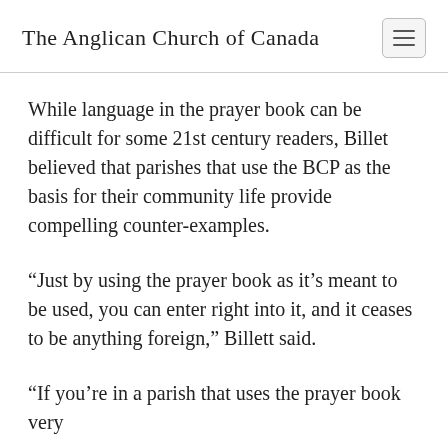The Anglican Church of Canada
While language in the prayer book can be difficult for some 21st century readers, Billet believed that parishes that use the BCP as the basis for their community life provide compelling counter-examples.
“Just by using the prayer book as it’s meant to be used, you can enter right into it, and it ceases to be anything foreign,” Billett said.
“If you’re in a parish that uses the prayer book very